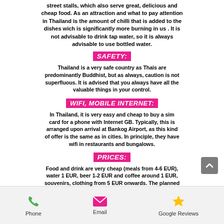street stalls, which also serve great, delicious and cheap food. As an attraction and what to pay attention in Thailand is the amount of chilli that is added to the dishes wich is significantly more burning in us . It is not advisable to drink tap water, so it is always advisable to use bottled water.
SAFETY:
Thailand is a very safe country as Thais are predominantly Buddhist, but as always, caution is not superfluous. It is advised that you always have all the valuable things in your control.
WIFI, MOBILE INTERNET:
In Thailand, it is very easy and cheap to buy a sim card for a phone with Internet GB. Typically, this is arranged upon arrival at Bankog Airport, as this kind of offer is the same as in cities. In principle, they have wifi in restaurants and bungalows.
PRICES:
Food and drink are very cheap (meals from 4-6 EUR), water 1 EUR, beer 1-2 EUR and coffee around 1 EUR, souvenirs, clothing from 5 EUR onwards. The planned additional daily cost per person is somewhere between 10-20 EUR, depending on individual needs.
Phone   Email   Google Reviews